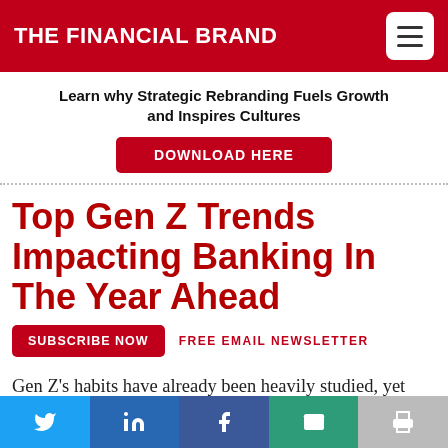THE FINANCIAL BRAND
Learn why Strategic Rebranding Fuels Growth and Inspires Cultures
DOWNLOAD HERE
Top Gen Z Trends Impacting Banking In The Year Ahead
SUBSCRIBE NOW   FREE EMAIL NEWSLETTER
Gen Z's habits have already been heavily studied, yet their attitudes toward finance